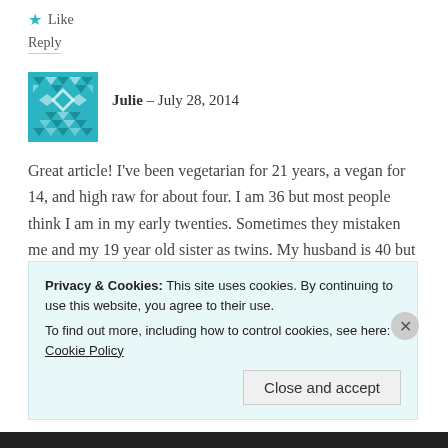★ Like
Reply
[Figure (illustration): Teal geometric/mosaic avatar icon for user Julie]
Julie – July 28, 2014
Great article! I've been vegetarian for 21 years, a vegan for 14, and high raw for about four. I am 36 but most people think I am in my early twenties. Sometimes they mistaken me and my 19 year old sister as twins. My husband is 40 but people think is he is 22-27. My mom is also a health nut. She's 58 but gets mistaken for 35. The other members of our family are aging "normally".
★ Like
Privacy & Cookies: This site uses cookies. By continuing to use this website, you agree to their use.
To find out more, including how to control cookies, see here: Cookie Policy
Close and accept